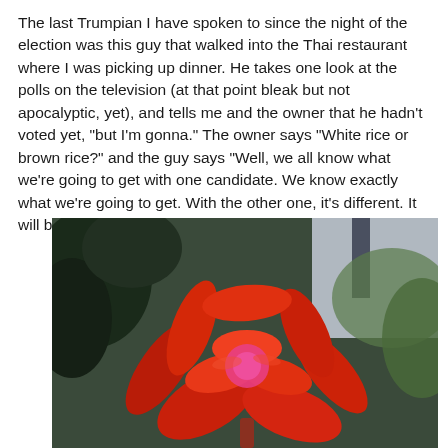The last Trumpian I have spoken to since the night of the election was this guy that walked into the Thai restaurant where I was picking up dinner. He takes one look at the polls on the television (at that point bleak but not apocalyptic, yet), and tells me and the owner that he hadn't voted yet, "but I'm gonna." The owner says "White rice or brown rice?" and the guy says "Well, we all know what we're going to get with one candidate. We know exactly what we're going to get. With the other one, it's different. It will be something new."
[Figure (photo): Close-up photograph of a vibrant red tropical flower (possibly a bromeliad or heliconia) with pointed red petals/bracts, with green foliage and a building structure in the blurred background.]